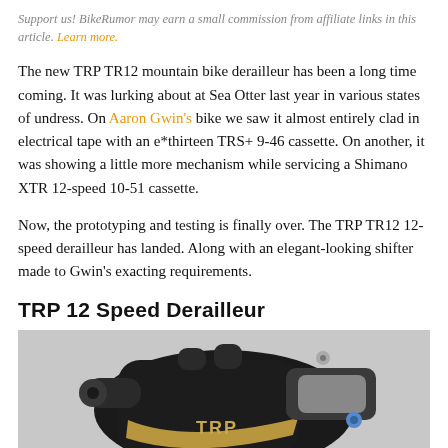Support us! BikeRumor may earn a small commission from affiliate links in this article. Learn more.
The new TRP TR12 mountain bike derailleur has been a long time coming. It was lurking about at Sea Otter last year in various states of undress. On Aaron Gwin’s bike we saw it almost entirely clad in electrical tape with an e*thirteen TRS+ 9-46 cassette. On another, it was showing a little more mechanism while servicing a Shimano XTR 12-speed 10-51 cassette.
Now, the prototyping and testing is finally over. The TRP TR12 12-speed derailleur has landed. Along with an elegant-looking shifter made to Gwin’s exacting requirements.
TRP 12 Speed Derailleur
[Figure (photo): Close-up photo of TRP 12 Speed Derailleur component, showing black and gold coloring with TRP branding logo visible, against a grey background]